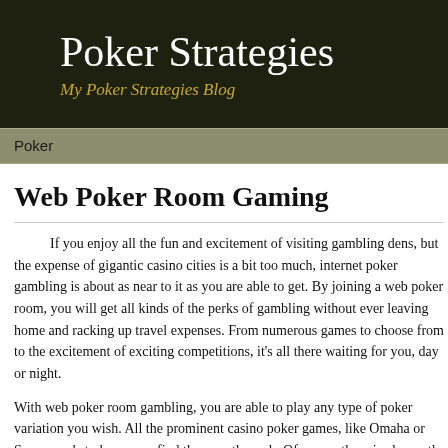Poker Strategies
My Poker Strategies Blog
Poker
Web Poker Room Gaming
If you enjoy all the fun and excitement of visiting gambling dens, but the expense of gigantic casino cities is a bit too much, internet poker gambling is about as near to it as you are able to get. By joining a web poker room, you will get all kinds of the perks of gambling without ever leaving home and racking up travel expenses. From numerous games to choose from to the excitement of exciting competitions, it's all there waiting for you, day or night.
With web poker room gambling, you are able to play any type of poker variation you wish. All the prominent casino poker games, like Omaha or Seven card stud, you can find them on the web. Of course there is always the chart-topping Holdem for players who enjoy that type. You can choose from a few separate gambling levels. Regardless of whether you are a large or small bettor, the type of competition you want are close-at-hand at an online poker room.